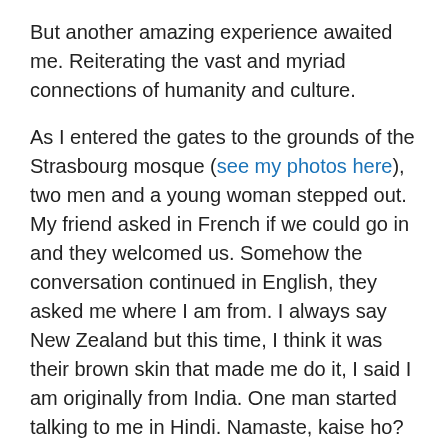But another amazing experience awaited me. Reiterating the vast and myriad connections of humanity and culture.
As I entered the gates to the grounds of the Strasbourg mosque (see my photos here), two men and a young woman stepped out. My friend asked in French if we could go in and they welcomed us. Somehow the conversation continued in English, they asked me where I am from. I always say New Zealand but this time, I think it was their brown skin that made me do it, I said I am originally from India. One man started talking to me in Hindi. Namaste, kaise ho? The other said, ah Shammi Kapoor. I said, yeah. He died last year. The man replied that he was visiting London that time when he came to know. Then he broke into a song. Dil deke dekho, dil deke dekho, dil deke dekho ji…yu to humne lakh haseen dekhe hai, (I joined in